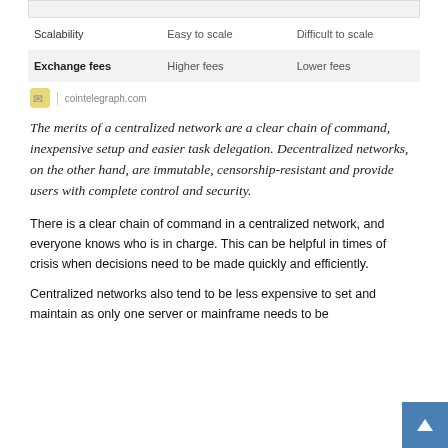|  |  |  |
| --- | --- | --- |
| Scalability | Easy to scale | Difficult to scale |
| Exchange fees | Higher fees | Lower fees |
cointelegraph.com
The merits of a centralized network are a clear chain of command, inexpensive setup and easier task delegation. Decentralized networks, on the other hand, are immutable, censorship-resistant and provide users with complete control and security.
There is a clear chain of command in a centralized network, and everyone knows who is in charge. This can be helpful in times of crisis when decisions need to be made quickly and efficiently.
Centralized networks also tend to be less expensive to set and maintain as only one server or mainframe needs to be